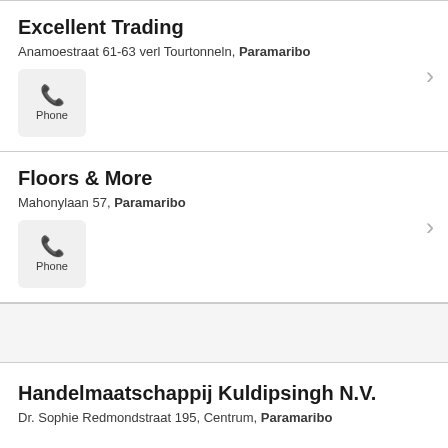Excellent Trading
Anamoestraat 61-63 verl Tourtonneln, Paramaribo
Floors & More
Mahonylaan 57, Paramaribo
Handelmaatschappij Kuldipsingh N.V.
Dr. Sophie Redmondstraat 195, Centrum, Paramaribo